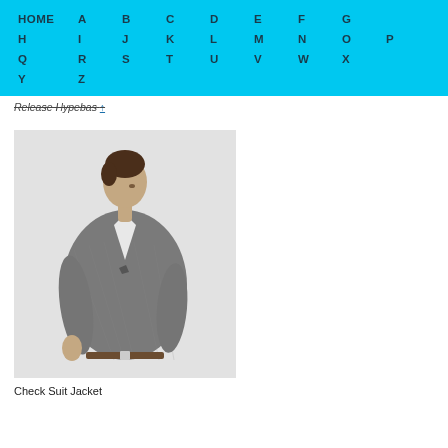HOME A B C D E F G H I J K L M N O P Q R S T U V W X Y Z
Release Hypebas ↑
[Figure (photo): A man wearing a grey check suit jacket, white dress shirt, seen from the side looking downward, against a light grey background.]
Check Suit Jacket